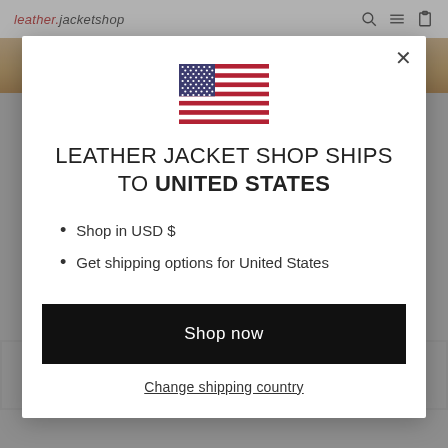leather.jacketshop
[Figure (illustration): US flag icon centered in modal]
LEATHER JACKET SHOP SHIPS TO UNITED STATES
Shop in USD $
Get shipping options for United States
Shop now
Change shipping country